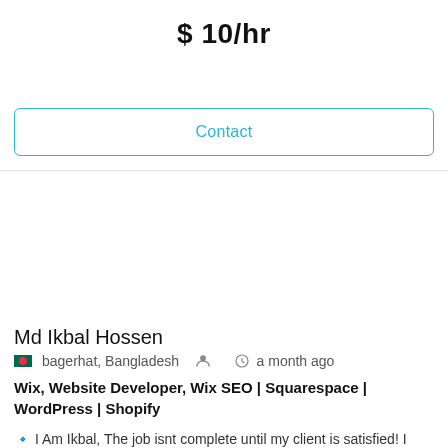$ 10/hr
Contact
Md Ikbal Hossen
🇧🇩 bagerhat, Bangladesh   a month ago
Wix, Website Developer, Wix SEO | Squarespace | WordPress | Shopify
🔹 I Am Ikbal, The job isnt complete until my client is satisfied! I work hard to earn the best feedback from my clients. If you are looking